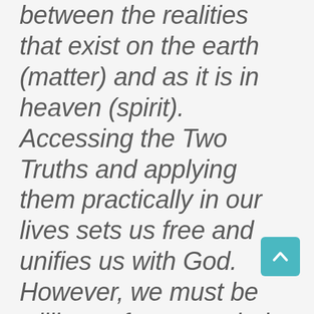between the realities that exist on the earth (matter) and as it is in heaven (spirit). Accessing the Two Truths and applying them practically in our lives sets us free and unifies us with God. However, we must be willing to free our mind in order to see the relative truth, no matter how unpleasant it may appear. And the truth is we are in a war over consciousness with False Gods on the earth, and we know the Universal Laws of